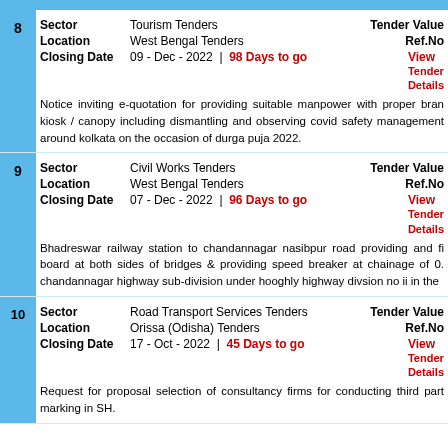8 Sector: Tourism Tenders | Tender Value | Location: West Bengal Tenders | Ref.No | Closing Date: 09 - Dec - 2022 | 98 Days to go | View | Tender Details | Notice inviting e-quotation for providing suitable manpower with proper brand kiosk / canopy including dismantling and observing covid safety management around kolkata on the occasion of durga puja 2022.
9 Sector: Civil Works Tenders | Tender Value | Location: West Bengal Tenders | Ref.No | Closing Date: 07 - Dec - 2022 | 96 Days to go | View | Tender Details | Bhadreswar railway station to chandannagar nasibpur road providing and fi board at both sides of bridges & providing speed breaker at chainage of 0. chandannagar highway sub-division under hooghly highway divsion no ii in the
10 Sector: Road Transport Services Tenders | Tender Value | Location: Orissa (Odisha) Tenders | Ref.No | Closing Date: 17 - Oct - 2022 | 45 Days to go | View | Tender Details | Request for proposal selection of consultancy firms for conducting third part marking in SH.